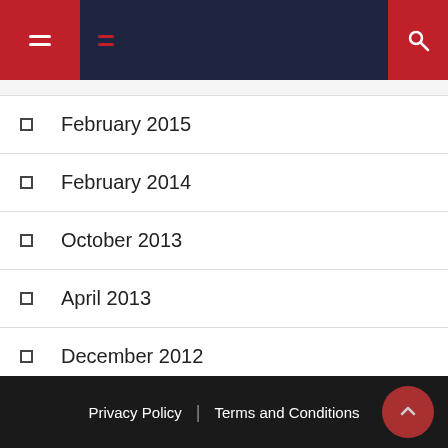Navigation header with hamburger menu icon and search icon
February 2015
February 2014
October 2013
April 2013
December 2012
January 2012
June 2011
Privacy Policy | Terms and Conditions